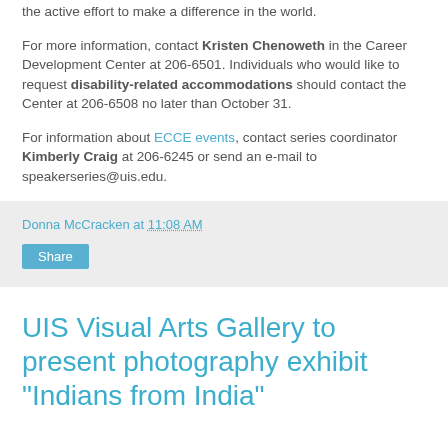the active effort to make a difference in the world.

For more information, contact Kristen Chenoweth in the Career Development Center at 206-6501. Individuals who would like to request disability-related accommodations should contact the Center at 206-6508 no later than October 31.

For information about ECCE events, contact series coordinator Kimberly Craig at 206-6245 or send an e-mail to speakerseries@uis.edu.
Donna McCracken at 11:08 AM
Share
UIS Visual Arts Gallery to present photography exhibit "Indians from India"